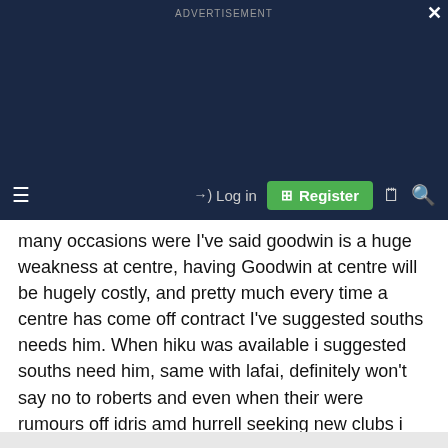ADVERTISEMENT
many occasions were I've said goodwin is a huge weakness at centre, having Goodwin at centre will be hugely costly, and pretty much every time a centre has come off contract I've suggested souths needs him. When hiku was available i suggested souths need him, same with lafai, definitely won't say no to roberts and even when their were rumours off idris amd hurrell seeking new clubs i hoped souths were in the chase. Roberts is needed at Souths, I have no confidence with goodwin as starting centre, and if we fail in getting roberts i hope the club looks into hurrell and see if the rumours of unrest at the Warriors is true